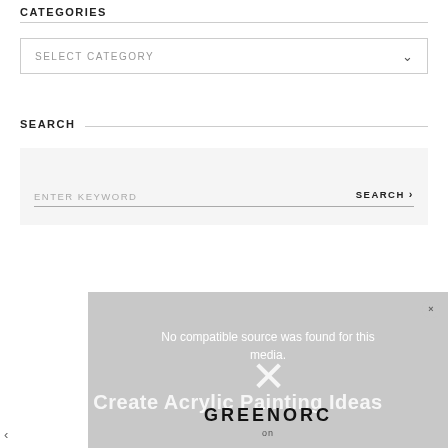CATEGORIES
[Figure (screenshot): SELECT CATEGORY dropdown box with a down chevron on the right]
SEARCH
[Figure (screenshot): Search input box with ENTER KEYWORD placeholder and SEARCH button with right chevron]
[Figure (screenshot): Video player area showing error: No compatible source was found for this media. Large X close button. GREENORC logo at bottom.]